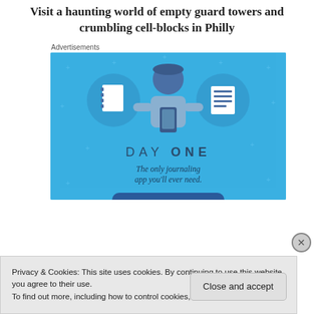Visit a haunting world of empty guard towers and crumbling cell-blocks in Philly
Advertisements
[Figure (illustration): Day One journaling app advertisement. Blue background with illustrated character holding a phone, flanked by circle icons of a notebook and a notes list. Text reads DAY ONE - The only journaling app you'll ever need.]
Privacy & Cookies: This site uses cookies. By continuing to use this website, you agree to their use.
To find out more, including how to control cookies, see here: Cookie Policy